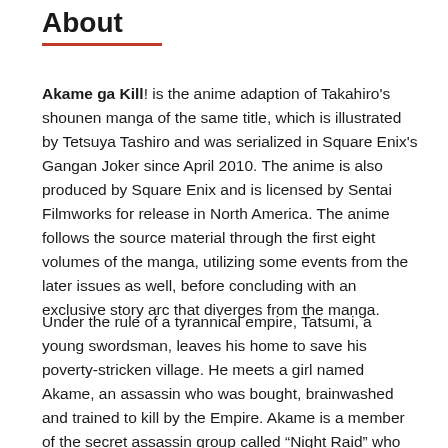About
Akame ga Kill! is the anime adaption of Takahiro's shounen manga of the same title, which is illustrated by Tetsuya Tashiro and was serialized in Square Enix's Gangan Joker since April 2010. The anime is also produced by Square Enix and is licensed by Sentai Filmworks for release in North America. The anime follows the source material through the first eight volumes of the manga, utilizing some events from the later issues as well, before concluding with an exclusive story arc that diverges from the manga.
Under the rule of a tyrannical empire, Tatsumi, a young swordsman, leaves his home to save his poverty-stricken village. He meets a girl named Akame, an assassin who was bought, brainwashed and trained to kill by the Empire. Akame is a member of the secret assassin group called “Night Raid” who use special weapons called Trigu…